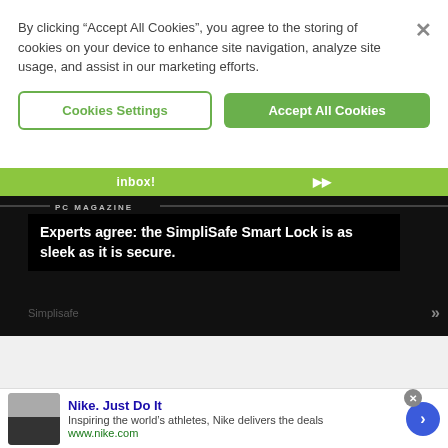By clicking “Accept All Cookies”, you agree to the storing of cookies on your device to enhance site navigation, analyze site usage, and assist in our marketing efforts.
Cookies Settings
Accept All Cookies
inbox!
PC MAGAZINE
Experts agree: the SimpliSafe Smart Lock is as sleek as it is secure.
Simplisafe
Nike. Just Do It
Inspiring the world’s athletes, Nike delivers the deals
www.nike.com